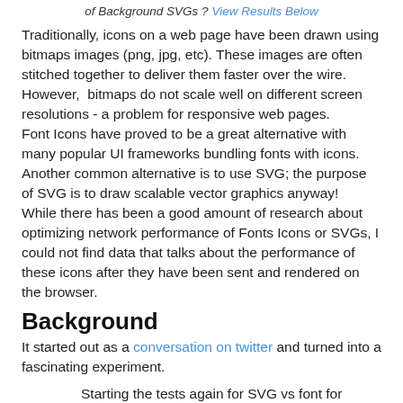of Background SVGs ? View Results Below
Traditionally, icons on a web page have been drawn using bitmaps images (png, jpg, etc). These images are often stitched together to deliver them faster over the wire. However, bitmaps do not scale well on different screen resolutions - a problem for responsive web pages. Font Icons have proved to be a great alternative with many popular UI frameworks bundling fonts with icons. Another common alternative is to use SVG; the purpose of SVG is to draw scalable vector graphics anyway! While there has been a good amount of research about optimizing network performance of Fonts Icons or SVGs, I could not find data that talks about the performance of these icons after they have been sent and rendered on the browser.
Background
It started out as a conversation on twitter and turned into a fascinating experiment.
Starting the tests again for SVG vs font for icons. Let's hope all tests finish and we have some juicy